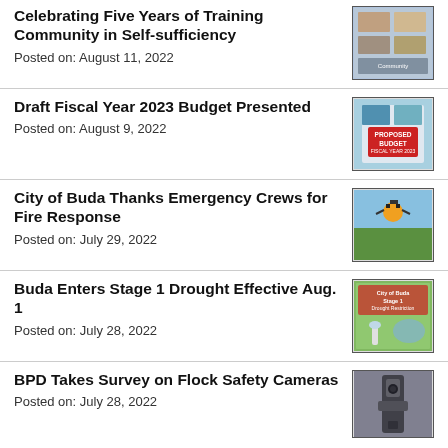Celebrating Five Years of Training Community in Self-sufficiency
Posted on: August 11, 2022
Draft Fiscal Year 2023 Budget Presented
Posted on: August 9, 2022
City of Buda Thanks Emergency Crews for Fire Response
Posted on: July 29, 2022
Buda Enters Stage 1 Drought Effective Aug. 1
Posted on: July 28, 2022
BPD Takes Survey on Flock Safety Cameras
Posted on: July 28, 2022